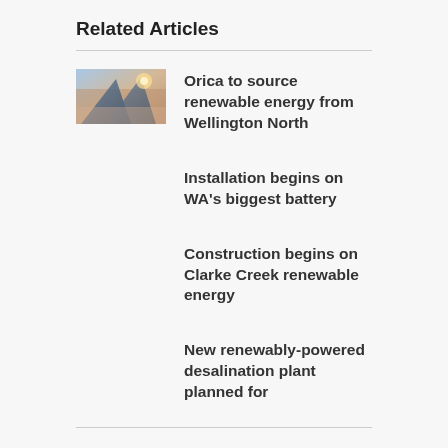Related Articles
[Figure (photo): Thumbnail image showing solar panels or renewable energy infrastructure with blue sky]
Orica to source renewable energy from Wellington North
Installation begins on WA's biggest battery
Construction begins on Clarke Creek renewable energy
New renewably-powered desalination plant planned for
Comments